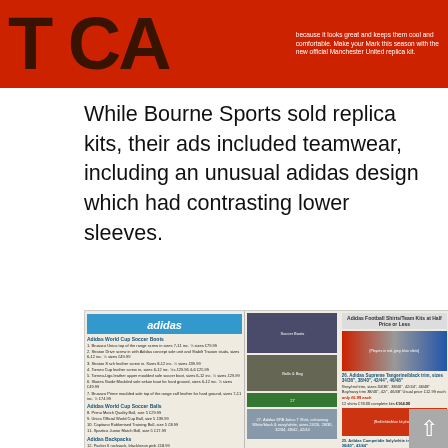[Figure (photo): Top portion of a magazine/catalog page showing a red background with large dark block letters 'T CA' visible, and a column of small white text on the right side describing Manchester United replica kit.]
While Bourne Sports sold replica kits, their ads included teamwear, including an unusual adidas design which had contrasting lower sleeves.
[Figure (photo): A scanned adidas catalog page showing sections for Adidas World Cup Soccer Boots, Adidas World Cup Soccer Balls, Adidas Backpacks, Adidas World Cup Sweetshirt/Shell Suit/Promo Jacket/Torsion on the left. Center shows product photos of boots, balls and bags. Right side shows Adidas Football Shirts/Team Kits at Half Price or Less with photos of players in red/grey/blue shirts, and Adidas Competidia kits. Bottom shows a female model and a male model in white Adidas SPA Jatica T Shirt.]